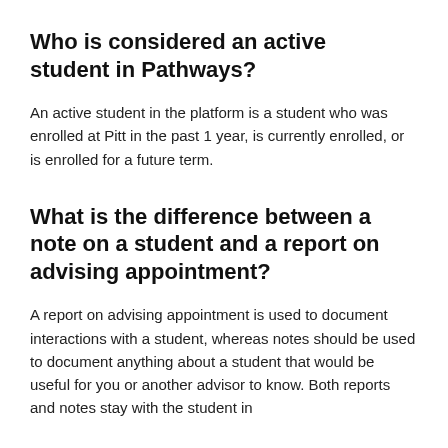Who is considered an active student in Pathways?
An active student in the platform is a student who was enrolled at Pitt in the past 1 year, is currently enrolled, or is enrolled for a future term.
What is the difference between a note on a student and a report on advising appointment?
A report on advising appointment is used to document interactions with a student, whereas notes should be used to document anything about a student that would be useful for you or another advisor to know. Both reports and notes stay with the student in